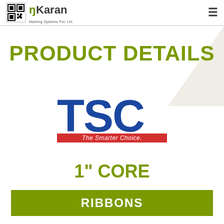Karan Marking Systems Pvt. Ltd.
PRODUCT DETAILS
[Figure (logo): TSC logo with text 'The Smarter Choice.' on a red banner below blue TSC lettering]
1" CORE
RIBBONS